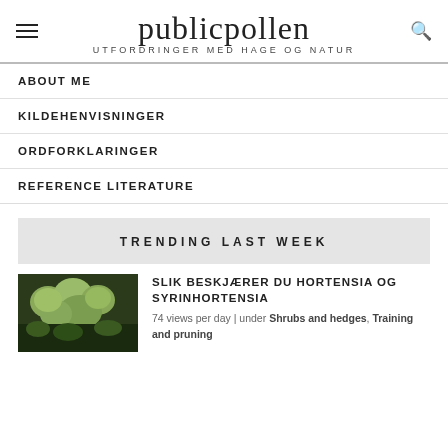publicpollen UTFORDRINGER MED HAGE OG NATUR
ABOUT ME
KILDEHENVISNINGER
ORDFORKLARINGER
REFERENCE LITERATURE
TRENDING LAST WEEK
[Figure (photo): Green hydrangea blooms against dark background]
SLIK BESKJÆRER DU HORTENSIA OG SYRINHORTENSIA
74 views per day | under Shrubs and hedges, Training and pruning